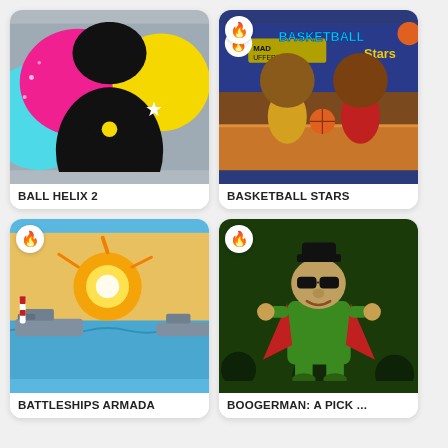[Figure (screenshot): Ball Helix 2 game thumbnail: colorful abstract design with pink, cyan, yellow and black shapes on gray background]
BALL HELIX 2
[Figure (screenshot): Basketball Stars game thumbnail: cartoon basketball players with oversized heads on a basketball court, with fire badge and Basketball Stars title]
BASKETBALL STARS
[Figure (screenshot): Battleships Armada game thumbnail: 3D cartoon battleships with explosion on water, fire badge in corner]
BATTLESHIPS ARMADA
[Figure (screenshot): Boogerman: A Pick game thumbnail: cartoon villain character in green suit on dark background, fire badge in corner]
BOOGERMAN: A PICK ...